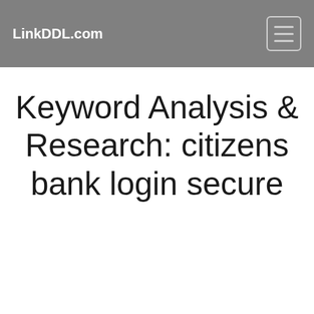LinkDDL.com
Keyword Analysis & Research: citizens bank login secure